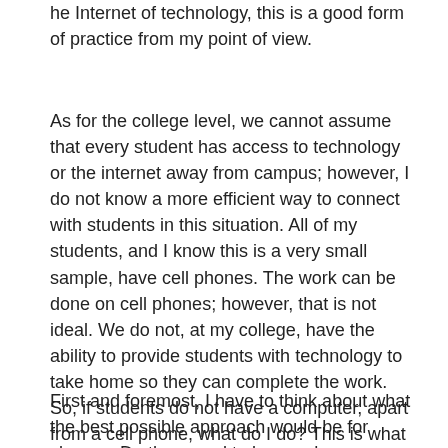he Internet of technology, this is a good form of practice from my point of view.
As for the college level, we cannot assume that every student has access to technology or the internet away from campus; however, I do not know a more efficient way to connect with students in this situation. All of my students, and I know this is a very small sample, have cell phones. The work can be done on cell phones; however, that is not ideal. We do not, at my college, have the ability to provide students with technology to take home so they can complete the work. So, if students do not have a computer, apart from a cell phone, what do I do? This is what I have been thinking about lately.
First and foremost, I have to think about what the best possible approach would be for classes. Do they need to be synchronous or asynchronous? Initially, I